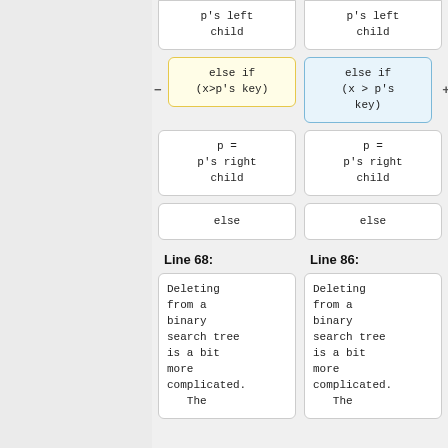[Figure (screenshot): A code diff view showing two columns of code blocks. Left column shows lines from version at Line 68, right column shows lines from version at Line 86. Code blocks show: p's left child, else if (x>p's key) [yellow/highlighted] vs else if (x > p's key) [blue/highlighted], p = p's right child, else, then a label 'Line 68:' / 'Line 86:', then a large block 'Deleting from a binary search tree is a bit more complicated. The' (cut off at bottom).]